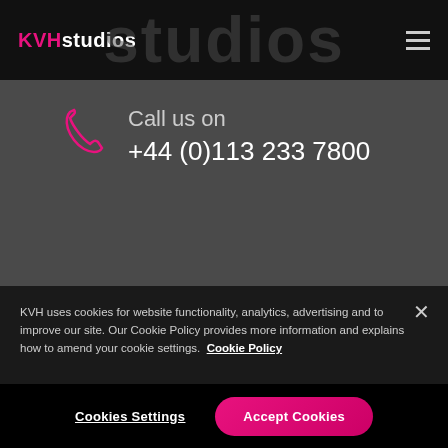KVH studios
Call us on
+44 (0)113 233 7800
Email us at
KVH uses cookies for website functionality, analytics, advertising and to improve our site. Our Cookie Policy provides more information and explains how to amend your cookie settings. Cookie Policy
Cookies Settings
Accept Cookies